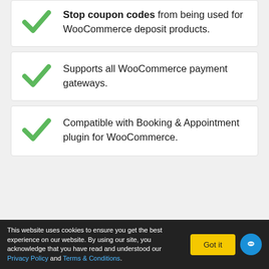Stop coupon codes from being used for WooCommerce deposit products.
Supports all WooCommerce payment gateways.
Compatible with Booking & Appointment plugin for WooCommerce.
This website uses cookies to ensure you get the best experience on our website. By using our site, you acknowledge that you have read and understood our Privacy Policy and Terms & Conditions.